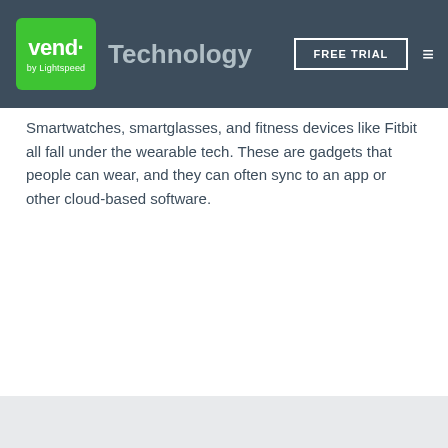vend. by Lightspeed | Technology | FREE TRIAL
Smartwatches, smartglasses, and fitness devices like Fitbit all fall under the wearable tech. These are gadgets that people can wear, and they can often sync to an app or other cloud-based software.
Wearable technology can have some interesting applications in retail. For instance, merchants can potentially use them to gain insights into customer movement, activity, and behavior as they move about the real world.
On the backend, wearable tech can allow retail employees to do tasks such inventory counts hands-free. It can also aid communication by enabling team members to communicate with each other without having to use hand-held devices.